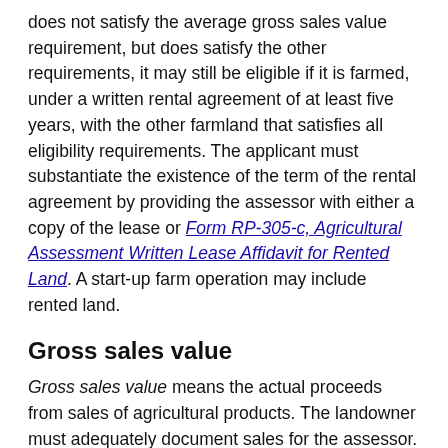does not satisfy the average gross sales value requirement, but does satisfy the other requirements, it may still be eligible if it is farmed, under a written rental agreement of at least five years, with the other farmland that satisfies all eligibility requirements.  The applicant must substantiate the existence of the term of the rental agreement by providing the assessor with either a copy of the lease or Form RP-305-c, Agricultural Assessment Written Lease Affidavit for Rented Land.  A start-up farm operation may include rented land.
Gross sales value
Gross sales value means the actual proceeds from sales of agricultural products.  The landowner must adequately document sales for the assessor.  Proceeds from all parcels used in a single operation may be combined to satisfy the average gross sales value requirement.  If a crop is grown and processed on the farm, the value of the crop before